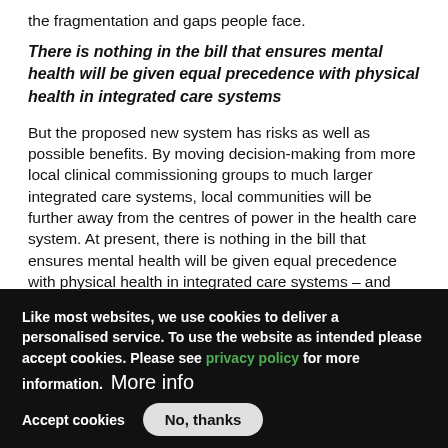the fragmentation and gaps people face.
There is nothing in the bill that ensures mental health will be given equal precedence with physical health in integrated care systems
But the proposed new system has risks as well as possible benefits. By moving decision-making from more local clinical commissioning groups to much larger integrated care systems, local communities will be further away from the centres of power in the health care system. At present, there is nothing in the bill that ensures mental health will be given equal precedence with physical health in integrated care systems – and without such assurances, history
Like most websites, we use cookies to deliver a personalised service. To use the website as intended please accept cookies. Please see privacy policy for more information. More info
Accept cookies   No, thanks